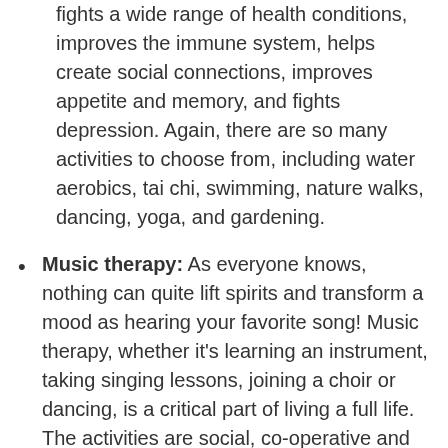live a more full and independent life, it also fights a wide range of health conditions, improves the immune system, helps create social connections, improves appetite and memory, and fights depression. Again, there are so many activities to choose from, including water aerobics, tai chi, swimming, nature walks, dancing, yoga, and gardening.
Music therapy: As everyone knows, nothing can quite lift spirits and transform a mood as hearing your favorite song! Music therapy, whether it's learning an instrument, taking singing lessons, joining a choir or dancing, is a critical part of living a full life. The activities are social, co-operative and encourage engagement, helping build social connections, relive good memories and living a life of purpose and accomplishment.